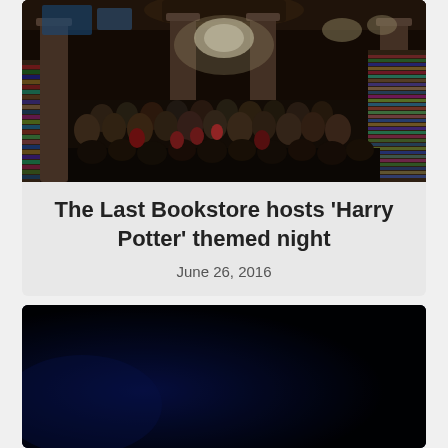[Figure (photo): Aerial view of The Last Bookstore crowded with people at night, showing tall columns, bookshelves along walls, and crowds gathered on the floor]
The Last Bookstore hosts 'Harry Potter' themed night
June 26, 2016
[Figure (photo): Dark blue/black image, partially visible, appears to be a night scene]